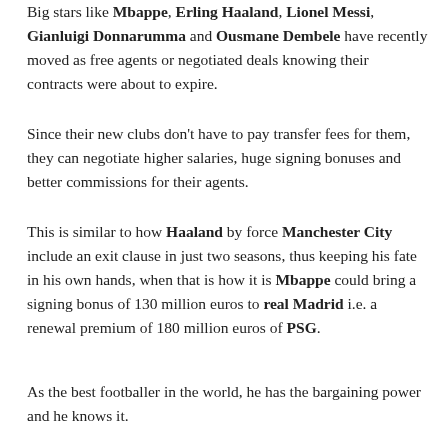Big stars like Mbappe, Erling Haaland, Lionel Messi, Gianluigi Donnarumma and Ousmane Dembele have recently moved as free agents or negotiated deals knowing their contracts were about to expire.
Since their new clubs don't have to pay transfer fees for them, they can negotiate higher salaries, huge signing bonuses and better commissions for their agents.
This is similar to how Haaland by force Manchester City include an exit clause in just two seasons, thus keeping his fate in his own hands, when that is how it is Mbappe could bring a signing bonus of 130 million euros to real Madrid i.e. a renewal premium of 180 million euros of PSG.
As the best footballer in the world, he has the bargaining power and he knows it.
Faced with this situation, many in the industry are asking FIFA to